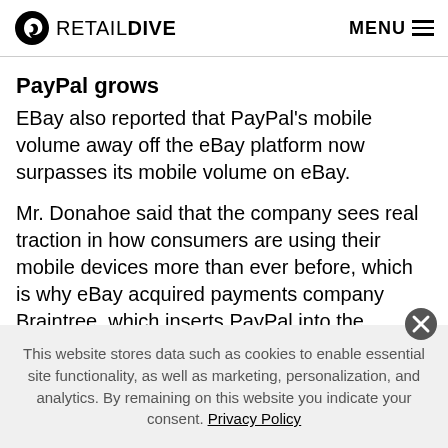RETAIL DIVE  MENU
PayPal grows
EBay also reported that PayPal’s mobile volume away off the eBay platform now surpasses its mobile volume on eBay.
Mr. Donahoe said that the company sees real traction in how consumers are using their mobile devices more than ever before, which is why eBay acquired payments company Braintree, which inserts PayPal into the growing sharing economy via apps such as
This website stores data such as cookies to enable essential site functionality, as well as marketing, personalization, and analytics. By remaining on this website you indicate your consent. Privacy Policy